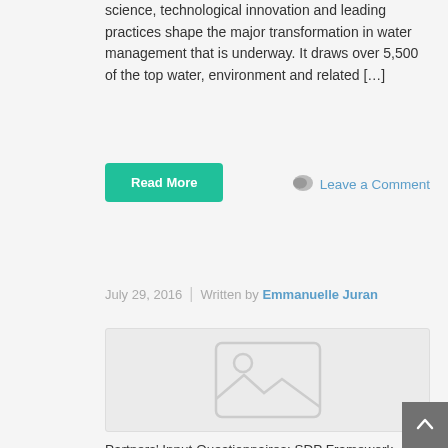science, technological innovation and leading practices shape the major transformation in water management that is underway. It draws over 5,500 of the top water, environment and related […]
Read More
Leave a Comment
July 29, 2016  |  Written by Emmanuelle Juran
[Figure (photo): Placeholder image with mountain/landscape icon]
Partners' Input Questionnaires: SDP Framework Questionnaire – All Answers SDP Communication Tools